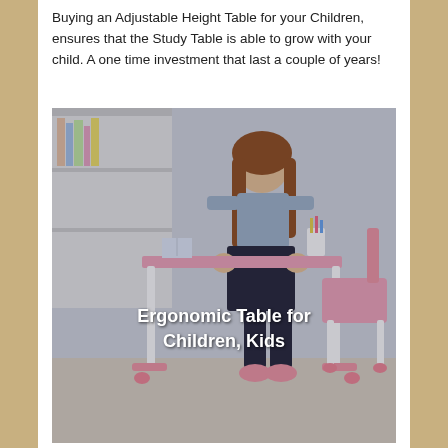Buying an Adjustable Height Table for your Children, ensures that the Study Table is able to grow with your child. A one time investment that last a couple of years!
[Figure (photo): A young girl with long brown hair sitting at a pink ergonomic children's study desk and chair set. Behind her is a white bookshelf. Text overlay on the image reads 'Ergonomic Table for Children, Kids' in bold white letters.]